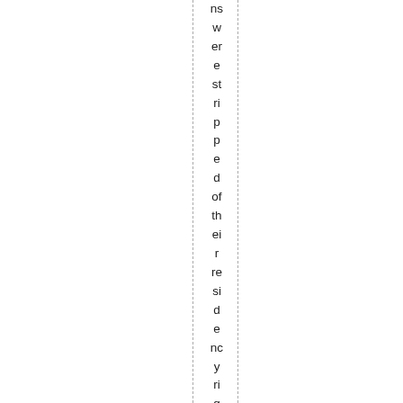ns were stripped of their residency rights in 1.5 years in